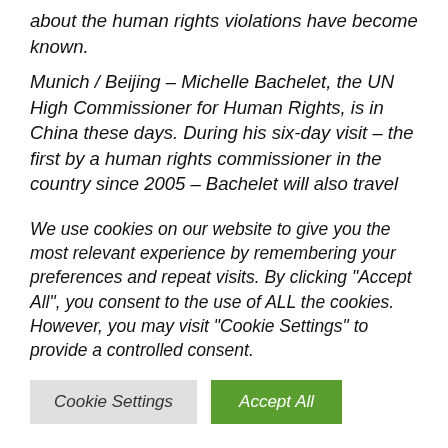about the human rights violations have become known.
Munich / Beijing – Michelle Bachelet, the UN High Commissioner for Human Rights, is in China these days. During his six-day visit – the first by a human rights commissioner in the country since 2005 – Bachelet will also travel to Xinjiang. The vast region of northwestern China has been under
We use cookies on our website to give you the most relevant experience by remembering your preferences and repeat visits. By clicking "Accept All", you consent to the use of ALL the cookies. However, you may visit "Cookie Settings" to provide a controlled consent.